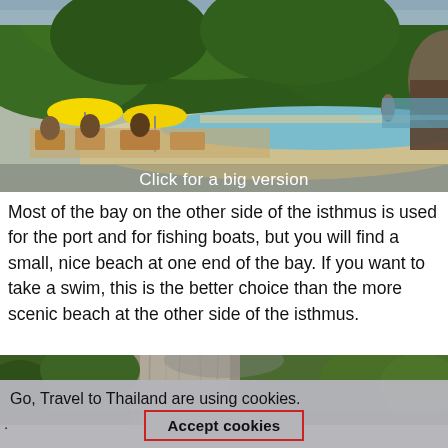[Figure (photo): A tropical beach scene with turquoise water, white sand, yellow beach umbrellas, people dining, and lush green limestone mountains in the background. Overlay text: 'Click for a big version'.]
Most of the bay on the other side of the isthmus is used for the port and for fishing boats, but you will find a small, nice beach at one end of the bay. If you want to take a swim, this is the better choice than the more scenic beach at the other side of the isthmus.
[Figure (photo): Partial view of a tropical landscape with green trees, a rocky cliff face, and palm fronds.]
Go, Travel to Thailand are using cookies.
Accept cookies